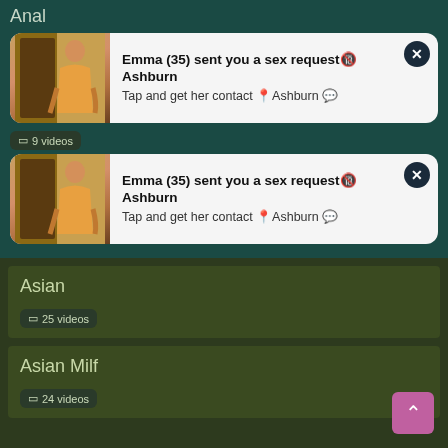Anal
[Figure (screenshot): Notification card 1: Emma (35) sent you a sex request Ashburn - Tap and get her contact Ashburn]
[Figure (screenshot): Notification card 2: Emma (35) sent you a sex request Ashburn - Tap and get her contact Ashburn]
Asian
25 videos
Asian Milf
24 videos